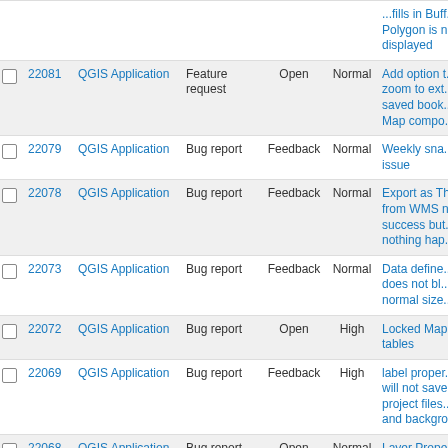|  | # | Project | Tracker | Status | Priority | Subject |
| --- | --- | --- | --- | --- | --- | --- |
|  |  |  |  |  |  | ...Fills in Buff... Polygon is n... displayed |
| ☐ | 22081 | QGIS Application | Feature request | Open | Normal | Add option t... zoom to ext... saved book... Map compo... |
| ☐ | 22079 | QGIS Application | Bug report | Feedback | Normal | Weekly sna... issue |
| ☐ | 22078 | QGIS Application | Bug report | Feedback | Normal | Export as Th... from WMS n... success but... nothing hap... |
| ☐ | 22073 | QGIS Application | Bug report | Feedback | Normal | Data define... does not bl... normal size... |
| ☐ | 22072 | QGIS Application | Bug report | Open | High | Locked Map... tables |
| ☐ | 22069 | QGIS Application | Bug report | Feedback | High | label proper... will not save... project files... and backgro... |
| ☐ | 22068 | QGIS Application | Bug report | Open | Normal | Layer Prope... Attributes F... (Width) |
| ☐ | 22067 | QGIS Application | Bug report | Feedback | High | QGIS crash... opening file... browser win... |
| ☐ | 22066 | QGIS Application | Bug report | Open | Normal | Valid file UR... fails in Iden... window |
| ☐ | 22065 | QGIS Application | Bug report | Open | Normal | QGis crashe... |